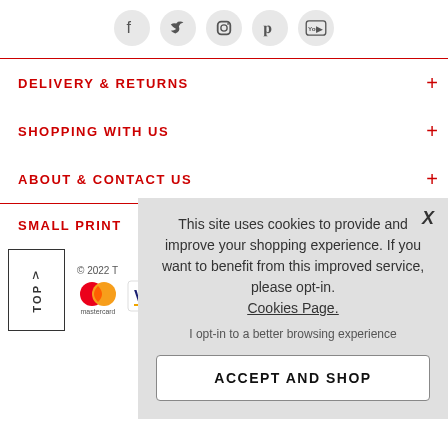[Figure (illustration): Social media icons row: Facebook, Twitter, Instagram, Pinterest, YouTube — each in a light gray circle]
DELIVERY & RETURNS
SHOPPING WITH US
ABOUT & CONTACT US
SMALL PRINT
This site uses cookies to provide and improve your shopping experience. If you want to benefit from this improved service, please opt-in. Cookies Page.
I opt-in to a better browsing experience
ACCEPT AND SHOP
© 2022 T
[Figure (logo): Mastercard logo]
[Figure (logo): Visa logo]